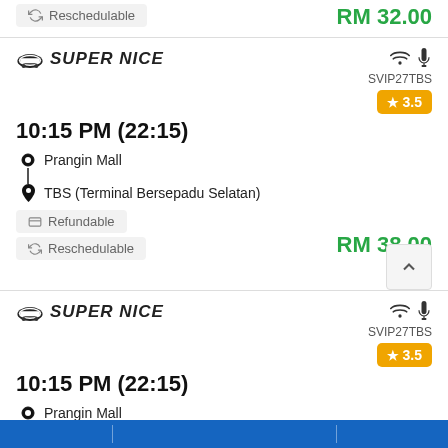Reschedulable
RM 32.00
[Figure (logo): Super Nice bus company logo with italic bold text and bus icon]
SVIP27TBS
10:15 PM (22:15)
3.5
Prangin Mall
TBS (Terminal Bersepadu Selatan)
Refundable
Reschedulable
RM 38.00
[Figure (logo): Super Nice bus company logo with italic bold text and bus icon]
SVIP27TBS
10:15 PM (22:15)
3.5
Prangin Mall
TBS (Terminal Bersepadu Selatan)
Refundable
Reschedulable
RM 40.00